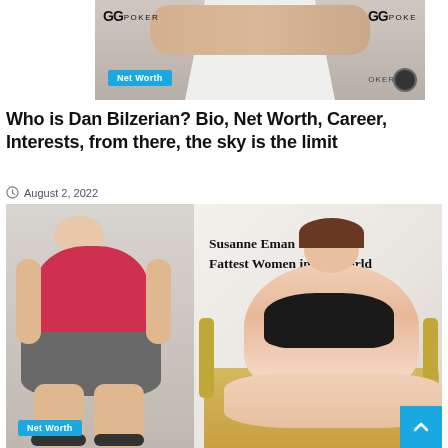[Figure (photo): Partial photo of two people standing in front of GGPoker branded backdrop. A blue 'Net Worth' badge overlays the lower-left of the photo.]
Who is Dan Bilzerian? Bio, Net Worth, Career, Interests, from there, the sky is the limit
August 2, 2022
[Figure (photo): Composite image showing two photos side by side. Left: a very large woman standing in a corridor wearing a red top and gray skirt. Right: text 'Susanne Eman Fattest Women in the World' with a photo of a very large woman seated on a yellow plaid couch wearing a black swimsuit. A blue 'Net Worth' badge overlays the lower-left. A blue scroll-to-top button with an up-arrow chevron is in the bottom-right corner.]